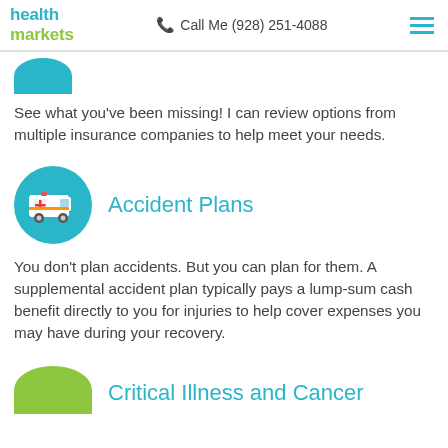health markets | Call Me (928) 251-4088
[Figure (illustration): Partial blue circle icon at top]
See what you've been missing! I can review options from multiple insurance companies to help meet your needs.
[Figure (illustration): Blue circular icon with ambulance/accident image]
Accident Plans
You don't plan accidents. But you can plan for them. A supplemental accident plan typically pays a lump-sum cash benefit directly to you for injuries to help cover expenses you may have during your recovery.
[Figure (illustration): Partial green circle icon for Critical Illness and Cancer section]
Critical Illness and Cancer